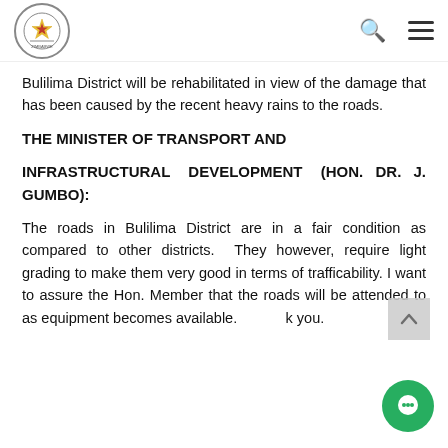Parliament of Zimbabwe logo with search and menu icons
Bulilima District will be rehabilitated in view of the damage that has been caused by the recent heavy rains to the roads.
THE MINISTER OF TRANSPORT AND INFRASTRUCTURAL DEVELOPMENT (HON. DR. J. GUMBO):
The roads in Bulilima District are in a fair condition as compared to other districts. They however, require light grading to make them very good in terms of trafficability. I want to assure the Hon. Member that the roads will be attended to as equipment becomes available. Thank you.